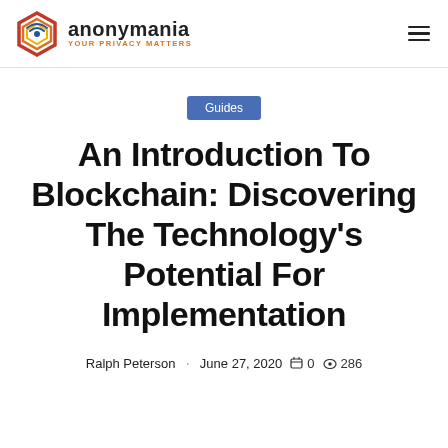anonymania YOUR PRIVACY MATTERS
Guides
An Introduction To Blockchain: Discovering The Technology's Potential For Implementation
Ralph Peterson · June 27, 2020  0  286